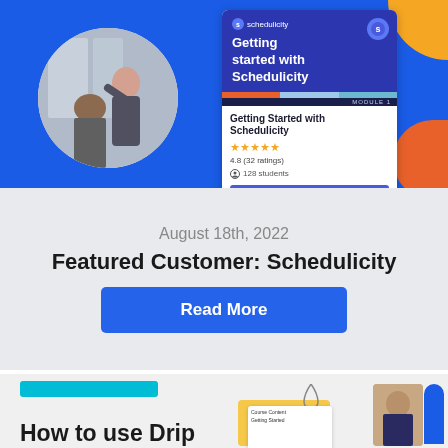[Figure (screenshot): Schedulicity course card showing 'Getting started with Schedulicity', 4.8 stars (32 ratings), 128 students, Enroll button. Banner overlaid on blue background with circular photo of hairstylist working.]
August 18th, 2022
Featured Customer: Schedulicity
Read More
[Figure (screenshot): Bottom section showing 'How to use Drip Content for...' article preview with cyan bar, person photo, drop icon, mini course card, and blue/yellow shapes.]
How to use Drip Content for S...